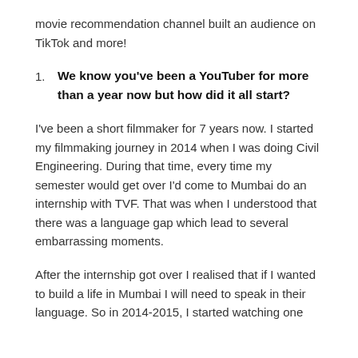movie recommendation channel built an audience on TikTok and more!
We know you've been a YouTuber for more than a year now but how did it all start?
I've been a short filmmaker for 7 years now. I started my filmmaking journey in 2014 when I was doing Civil Engineering. During that time, every time my semester would get over I'd come to Mumbai do an internship with TVF. That was when I understood that there was a language gap which lead to several embarrassing moments.
After the internship got over I realised that if I wanted to build a life in Mumbai I will need to speak in their language. So in 2014-2015, I started watching one